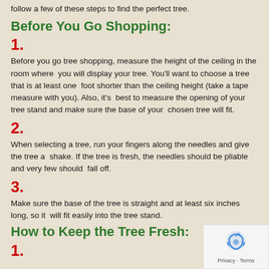follow a few of these steps to find the perfect tree.
Before You Go Shopping:
1.
Before you go tree shopping, measure the height of the ceiling in the room where you will display your tree. You'll want to choose a tree that is at least one foot shorter than the ceiling height (take a tape measure with you). Also, it's best to measure the opening of your tree stand and make sure the base of your chosen tree will fit.
2.
When selecting a tree, run your fingers along the needles and give the tree a shake. If the tree is fresh, the needles should be pliable and very few should fall off.
3.
Make sure the base of the tree is straight and at least six inches long, so it will fit easily into the tree stand.
How to Keep the Tree Fresh:
1.